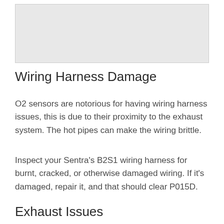[Figure (photo): Image placeholder area at top of page]
Wiring Harness Damage
O2 sensors are notorious for having wiring harness issues, this is due to their proximity to the exhaust system. The hot pipes can make the wiring brittle.
Inspect your Sentra’s B2S1 wiring harness for burnt, cracked, or otherwise damaged wiring. If it’s damaged, repair it, and that should clear P015D.
Exhaust Issues